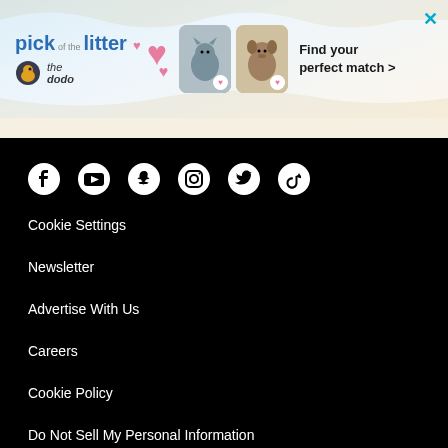[Figure (illustration): Advertisement banner for 'The Dodo' showing 'pick of the litter' with pet photos, hearts, and 'Find your perfect match >' text with a close X button]
[Figure (infographic): Social media icons row: Facebook, YouTube, Snapchat, Instagram, Twitter/X, TikTok on black background]
Cookie Settings
Newsletter
Advertise With Us
Careers
Cookie Policy
Do Not Sell My Personal Information
Press